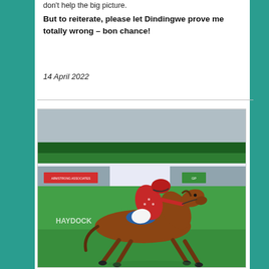don't help the big picture.
But to reiterate, please let Dindingwe prove me totally wrong – bon chance!
14 April 2022
[Figure (photo): A jockey in red and white silks riding a chestnut thoroughbred horse at full gallop on a grass racecourse. Racecourse stands and sponsor boards visible in background including 'HAYDOCK PARK'. The horse is mid-stride on green turf.]